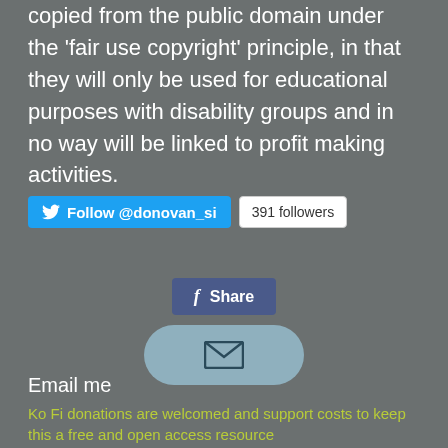copied from the public domain under the 'fair use copyright' principle, in that they will only be used for educational purposes with disability groups and in no way will be linked to profit making activities.
[Figure (other): Twitter Follow button for @donovan_si with 391 followers count, Facebook Share button, and email envelope button]
Email me
Ko Fi donations are welcomed and support costs to keep this a free and open access resource
Simon O'Donovan MBE. Proudly created with Wix.com  2022